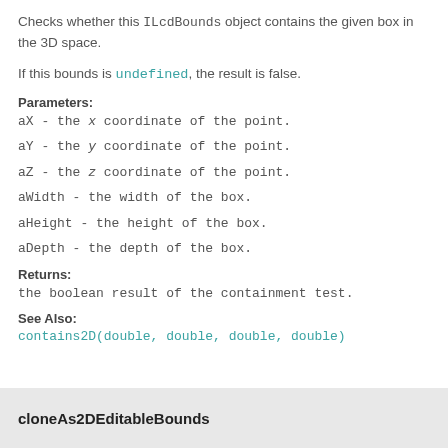Checks whether this ILcdBounds object contains the given box in the 3D space.
If this bounds is undefined, the result is false.
Parameters:
aX - the x coordinate of the point.
aY - the y coordinate of the point.
aZ - the z coordinate of the point.
aWidth - the width of the box.
aHeight - the height of the box.
aDepth - the depth of the box.
Returns:
the boolean result of the containment test.
See Also:
contains2D(double, double, double, double)
cloneAs2DEditableBounds